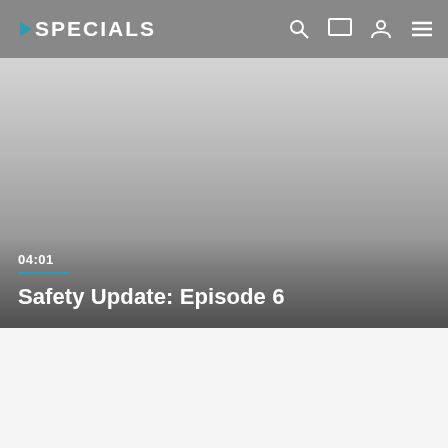SPECIALS
[Figure (screenshot): Video thumbnail showing a gradient grey background with a video duration overlay showing 04:01 and a blue underline, and the title 'Safety Update: Episode 6' in white bold text at the bottom]
Safety Update: Episode 6
04:01